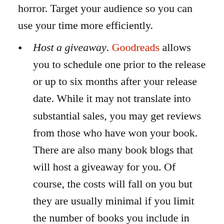horror. Target your audience so you can use your time more efficiently.
Host a giveaway. Goodreads allows you to schedule one prior to the release or up to six months after your release date. While it may not translate into substantial sales, you may get reviews from those who have won your book. There are also many book blogs that will host a giveaway for you. Of course, the costs will fall on you but they are usually minimal if you limit the number of books you include in your giveaway.
Start local. I have many friends in book clubs around the state. Last year, 6 book clubs